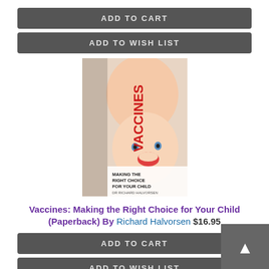ADD TO CART
ADD TO WISH LIST
[Figure (illustration): Book cover: Vaccines: Making the Right Choice for Your Child by Dr Richard Halvorsen. Shows a mother and baby on the cover with red 'VACCINES' text.]
Vaccines: Making the Right Choice for Your Child (Paperback) By Richard Halvorsen $16.95
ADD TO CART
ADD TO WISH LIST
[Figure (illustration): Book cover partial: What Your Child on the Spectrum Really Needs]